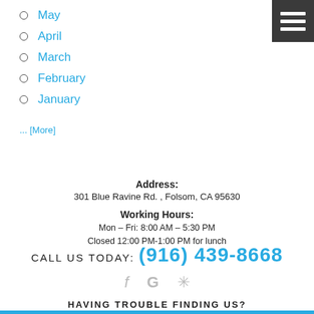[Figure (other): Hamburger menu icon with three white horizontal bars on dark gray background, top right corner]
May
April
March
February
January
... [More]
Address:
301 Blue Ravine Rd. , Folsom, CA 95630
Working Hours:
Mon – Fri: 8:00 AM – 5:30 PM
Closed 12:00 PM-1:00 PM for lunch
CALL US TODAY: (916) 439-8668
[Figure (other): Social media icons: Facebook (f), Google (G), Yelp (asterisk/star) in gray]
HAVING TROUBLE FINDING US?